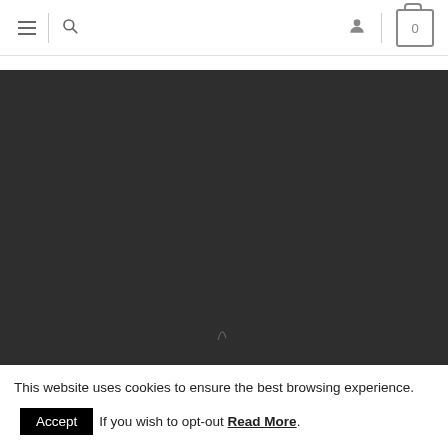Navigation bar with hamburger menu, search icon, user icon, and cart (0)
[Figure (photo): Dark/black image area, nearly entirely dark with faint light streak near bottom center]
This website uses cookies to ensure the best browsing experience. Accept If you wish to opt-out Read More.